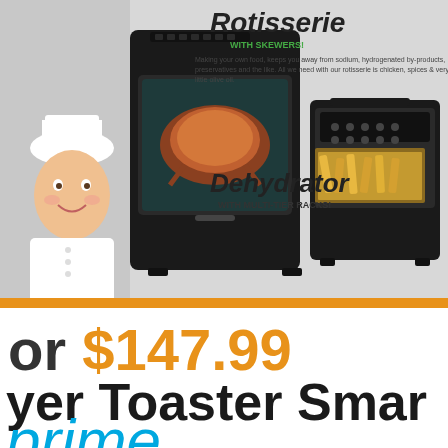[Figure (photo): Product marketing image for an air fryer toaster oven with rotisserie and dehydrator functions. Shows a chef with a white hat, a black air fryer oven with glass door showing rotisserie chicken, and text 'Rotisserie WITH SKEWERS!' and 'Dehydrator WITH MULTI-TIER RACKS!'. Orange horizontal bar at bottom of image.]
or $147.99
yer Toaster Smart
prime